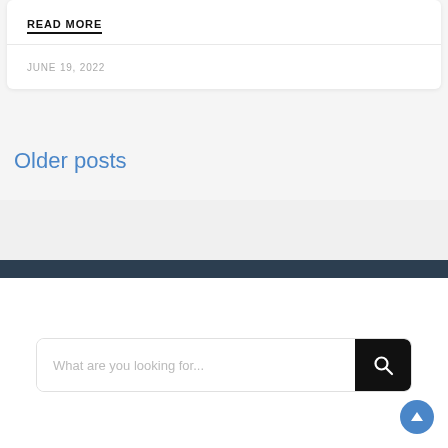READ MORE
JUNE 19, 2022
Older posts
[Figure (screenshot): Search bar with placeholder text 'What are you looking for...' and a dark search button with magnifying glass icon]
[Figure (other): Blue circular back-to-top button with upward arrow icon]